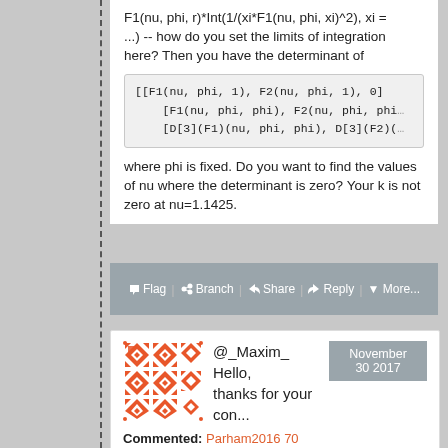F1(nu, phi, r)*Int(1/(xi*F1(nu, phi, xi)^2), xi = ...) -- how do you set the limits of integration here? Then you have the determinant of
where phi is fixed. Do you want to find the values of nu where the determinant is zero? Your k is not zero at nu=1.1425.
Flag  Branch  Share  Reply  More...
[Figure (illustration): Orange decorative tile/avatar pattern with geometric shapes]
@_Maxim_ Hello, thanks for your con...
November 30 2017
Commented: Parham2016 70